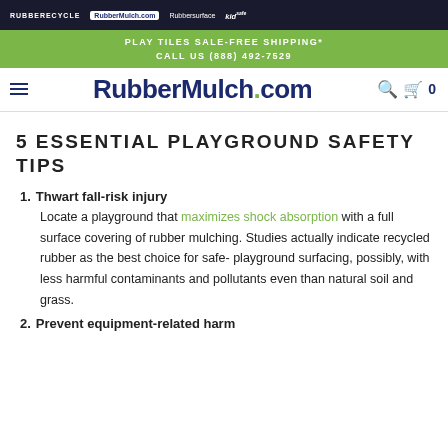RUBBERECYCLE | RubberMulch.com | Rubbersurface | KidSafer
PLAY TILES SALE-FREE SHIPPING* CALL US (888) 492-7529
RubberMulch.com
5 ESSENTIAL PLAYGROUND SAFETY TIPS
1. Thwart fall-risk injury
Locate a playground that maximizes shock absorption with a full surface covering of rubber mulching. Studies actually indicate recycled rubber as the best choice for safe- playground surfacing, possibly, with less harmful contaminants and pollutants even than natural soil and grass.
2. Prevent equipment-related harm